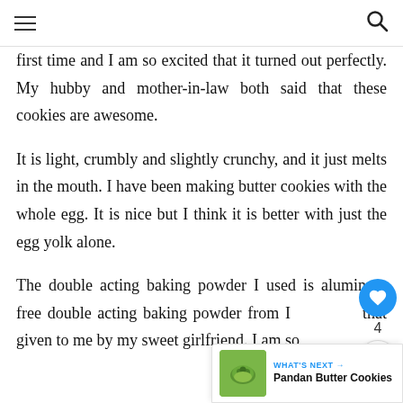first time and I am so excited that it turned out perfectly. My hubby and mother-in-law both said that these cookies are awesome.
It is light, crumbly and slightly crunchy, and it just melts in the mouth. I have been making butter cookies with the whole egg. It is nice but I think it is better with just the egg yolk alone.
The double acting baking powder I used is aluminum free double acting baking powder from I that given to me by my sweet girlfriend. I am so